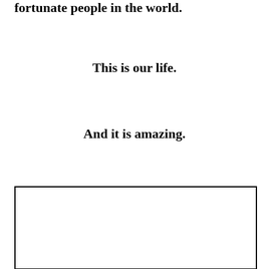fortunate people in the world.
This is our life.
And it is amazing.
[Figure (other): Empty bordered rectangle box]